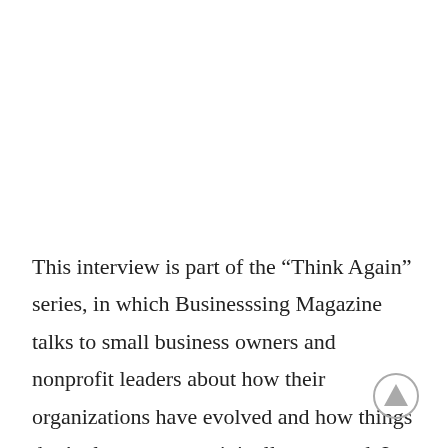This interview is part of the “Think Again” series, in which Businesssing Magazine talks to small business owners and nonprofit leaders about how their organizations have evolved and how things don’t always go as originally expected. In this interview, we asked Dave Miles of VitalChurch Ministry …